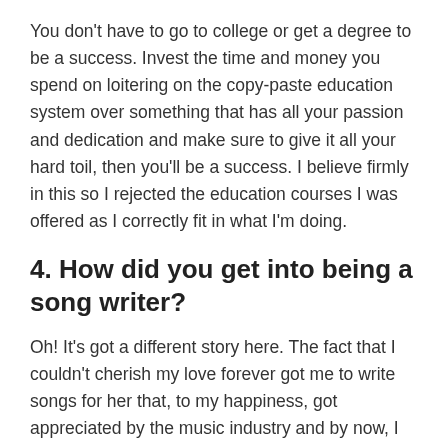You don't have to go to college or get a degree to be a success. Invest the time and money you spend on loitering on the copy-paste education system over something that has all your passion and dedication and make sure to give it all your hard toil, then you'll be a success. I believe firmly in this so I rejected the education courses I was offered as I correctly fit in what I'm doing.
4. How did you get into being a song writer?
Oh! It's got a different story here. The fact that I couldn't cherish my love forever got me to write songs for her that, to my happiness, got appreciated by the music industry and by now, I have written about a dozen songs just for her.